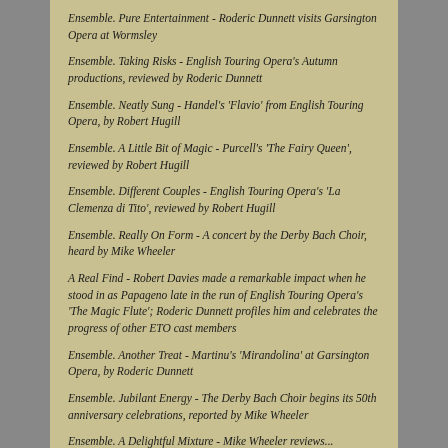Ensemble. Pure Entertainment - Roderic Dunnett visits Garsington Opera at Wormsley
Ensemble. Taking Risks - English Touring Opera's Autumn productions, reviewed by Roderic Dunnett
Ensemble. Neatly Sung - Handel's 'Flavio' from English Touring Opera, by Robert Hugill
Ensemble. A Little Bit of Magic - Purcell's 'The Fairy Queen', reviewed by Robert Hugill
Ensemble. Different Couples - English Touring Opera's 'La Clemenza di Tito', reviewed by Robert Hugill
Ensemble. Really On Form - A concert by the Derby Bach Choir, heard by Mike Wheeler
A Real Find - Robert Davies made a remarkable impact when he stood in as Papageno late in the run of English Touring Opera's 'The Magic Flute'; Roderic Dunnett profiles him and celebrates the progress of other ETO cast members
Ensemble. Another Treat - Martinu's 'Mirandolina' at Garsington Opera, by Roderic Dunnett
Ensemble. Jubilant Energy - The Derby Bach Choir begins its 50th anniversary celebrations, reported by Mike Wheeler
Ensemble. A Delightful Mixture - Mike Wheeler reviews...